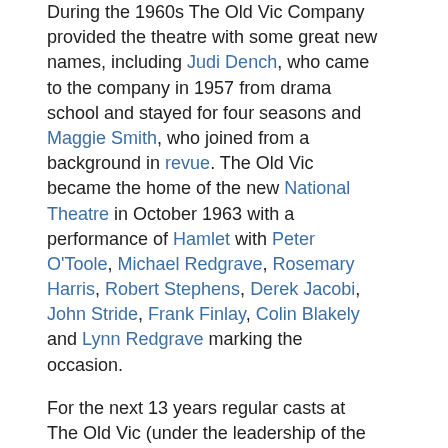During the 1960s The Old Vic Company provided the theatre with some great new names, including Judi Dench, who came to the company in 1957 from drama school and stayed for four seasons and Maggie Smith, who joined from a background in revue. The Old Vic became the home of the new National Theatre in October 1963 with a performance of Hamlet with Peter O'Toole, Michael Redgrave, Rosemary Harris, Robert Stephens, Derek Jacobi, John Stride, Frank Finlay, Colin Blakely and Lynn Redgrave marking the occasion.
For the next 13 years regular casts at The Old Vic (under the leadership of the